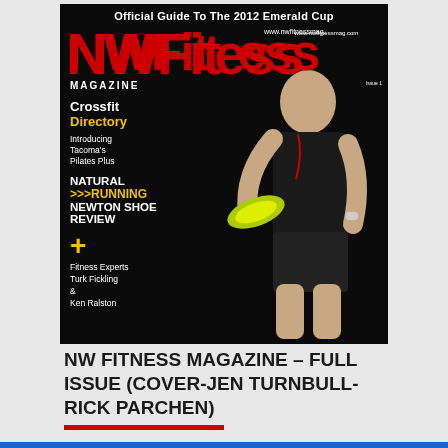[Figure (photo): NW Fitness Magazine cover featuring a muscular man in black sleeveless shirt and shorts holding bright yellow-green Newton running shoes. Cover text includes: Official Guide To The 2012 Emerald Cup, NWFitness Magazine logo in red, Crossfit Directory, Introducing Tacoma's Pilates Plus, Natural Running Newton Shoe Review, plus Fitness Experts Turk Fickling & Ken Ralston. Website: www.nwfitnessmag.com]
NW FITNESS MAGAZINE – FULL ISSUE (COVER-JEN TURNBULL-RICK PARCHEN)